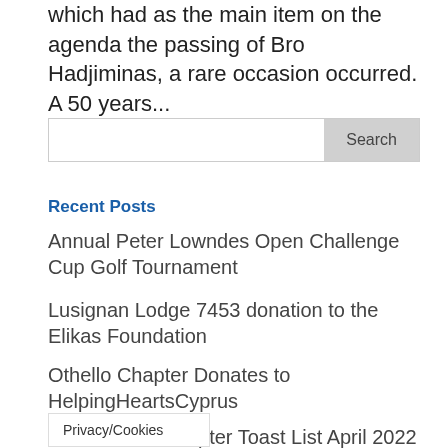which had as the main item on the agenda the passing of Bro Hadjiminas, a rare occasion occurred. A 50 years...
Search
Recent Posts
Annual Peter Lowndes Open Challenge Cup Golf Tournament
Lusignan Lodge 7453 donation to the Elikas Foundation
Othello Chapter Donates to HelpingHeartsCyprus
New Craft & Chapter Toast List April 2022
A … ication & Convocation on the
Privacy/Cookies